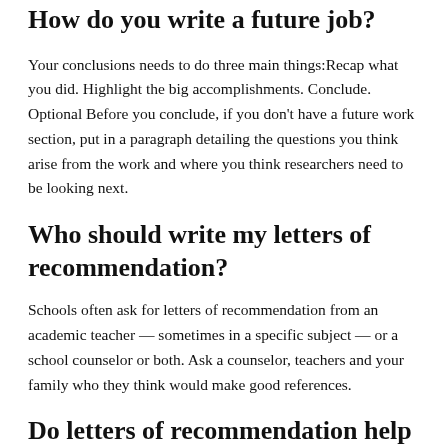How do you write a future job?
Your conclusions needs to do three main things:Recap what you did. Highlight the big accomplishments. Conclude. Optional Before you conclude, if you don't have a future work section, put in a paragraph detailing the questions you think arise from the work and where you think researchers need to be looking next.
Who should write my letters of recommendation?
Schools often ask for letters of recommendation from an academic teacher — sometimes in a specific subject — or a school counselor or both. Ask a counselor, teachers and your family who they think would make good references.
Do letters of recommendation help get a